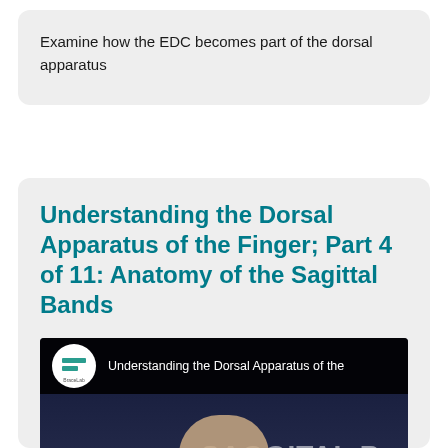Examine how the EDC becomes part of the dorsal apparatus
Understanding the Dorsal Apparatus of the Finger; Part 4 of 11: Anatomy of the Sagittal Bands
[Figure (screenshot): Video thumbnail for BraceLab showing 'Understanding the Dorsal Apparatus of the Finger' with SAGGITAL BANDS text overlay and a dark background with a hand image]